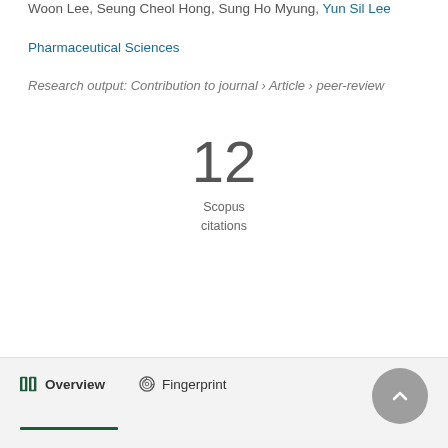Woon Lee, Seung Cheol Hong, Sung Ho Myung, Yun Sil Lee
Pharmaceutical Sciences
Research output: Contribution to journal › Article › peer-review
12
Scopus
citations
Overview   Fingerprint